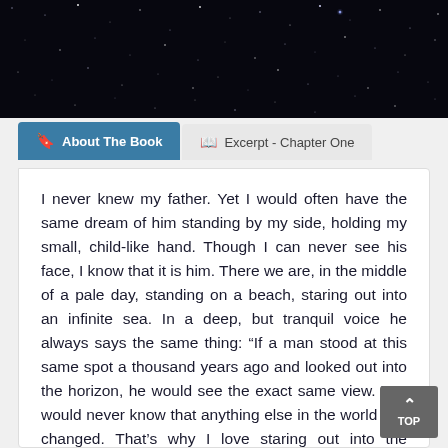[Figure (illustration): Dark starfield / night sky header image with scattered white dots representing stars on a near-black background.]
About The Book
Excerpt - Chapter One
I never knew my father. Yet I would often have the same dream of him standing by my side, holding my small, child-like hand. Though I can never see his face, I know that it is him. There we are, in the middle of a pale day, standing on a beach, staring out into an infinite sea. In a deep, but tranquil voice he always says the same thing: “If a man stood at this same spot a thousand years ago and looked out into the horizon, he would see the exact same view. You would never know that anything else in the world has changed. That’s why I love staring out into the ocean.” As always, I say nothing, just stand there watching and listening, soaking it all in,